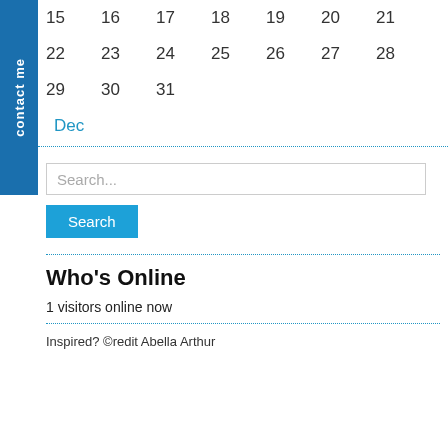[Figure (other): Blue vertical 'contact me' tab on the left side of the page]
15   16   17   18   19   20   21
22   23   24   25   26   27   28
29   30   31
Dec
Search...
Search
Who's Online
1 visitors online now
Inspired? ©redit Abella Arthur